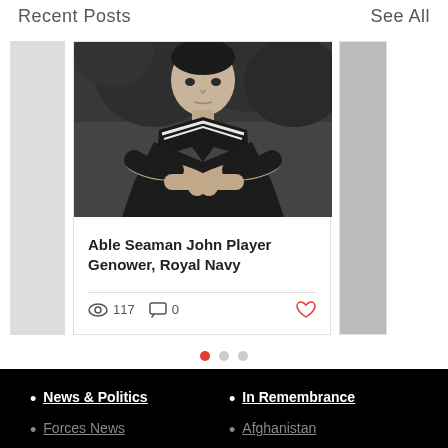Recent Posts   See All
[Figure (photo): Black and white photo of a young man in a Royal Navy sailor uniform with arms crossed]
Able Seaman John Player Genower, Royal Navy
👁 117   💬 0   ❤
• News & Politics
• In Remembrance
• Forces News
• Afghanistan